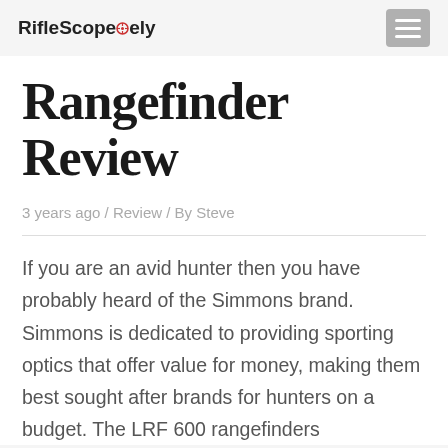RifleScopely
Rangefinder Review
3 years ago / Review / By Steve
If you are an avid hunter then you have probably heard of the Simmons brand. Simmons is dedicated to providing sporting optics that offer value for money, making them best sought after brands for hunters on a budget. The LRF 600 rangefinders